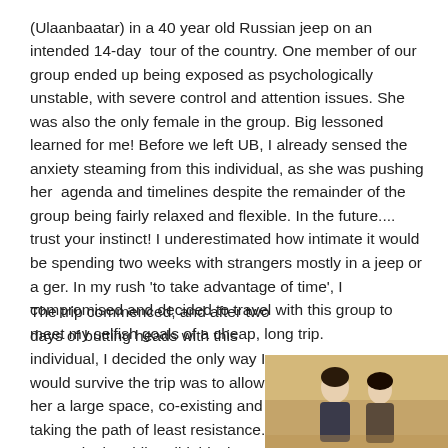(Ulaanbaatar) in a 40 year old Russian jeep on an intended 14-day tour of the country. One member of our group ended up being exposed as psychologically unstable, with severe control and attention issues. She was also the only female in the group. Big lessoned learned for me! Before we left UB, I already sensed the anxiety steaming from this individual, as she was pushing her agenda and timelines despite the remainder of the group being fairly relaxed and flexible. In the future.... trust your instinct! I underestimated how intimate it would be spending two weeks with strangers mostly in a jeep or a ger. In my rush 'to take advantage of time', I compromised and decided to travel with this group to meet my selfish goals of a cheap, long trip.
The trip commenced, and after two days of butting heads with this individual, I decided the only way I would survive the trip was to allow her a large space, co-existing and taking the path of least resistance. Interestingly, while I did this, her tension with two other members of our group increased. Her
[Figure (photo): A photo showing two people, appearing to be outdoors in a sandy/desert environment. The photo is partially visible at the bottom right of the page.]